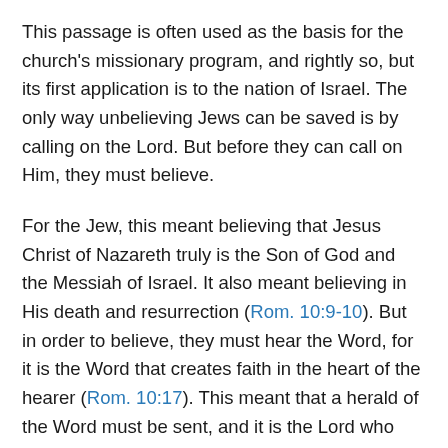This passage is often used as the basis for the church's missionary program, and rightly so, but its first application is to the nation of Israel. The only way unbelieving Jews can be saved is by calling on the Lord. But before they can call on Him, they must believe.
For the Jew, this meant believing that Jesus Christ of Nazareth truly is the Son of God and the Messiah of Israel. It also meant believing in His death and resurrection (Rom. 10:9-10). But in order to believe, they must hear the Word, for it is the Word that creates faith in the heart of the hearer (Rom. 10:17). This meant that a herald of the Word must be sent, and it is the Lord who does the sending. At this point, Paul could well have been remembering his own call to preach the Word to the Gentiles (Acts 13:1-3).
The quotation in Romans 10:15 is found in Isaiah 52:7 and